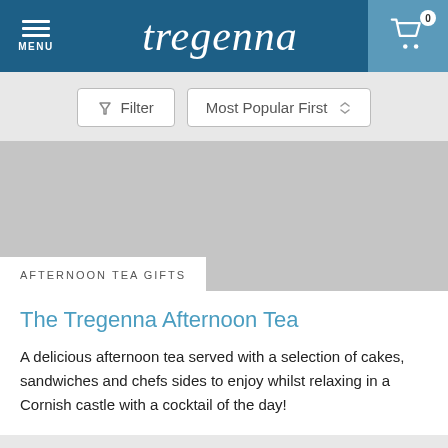tregenna — MENU — Cart 0
[Figure (screenshot): Filter button and Most Popular First sort dropdown UI controls]
[Figure (photo): Grey placeholder image for product]
AFTERNOON TEA GIFTS
The Tregenna Afternoon Tea
A delicious afternoon tea served with a selection of cakes, sandwiches and chefs sides to enjoy whilst relaxing in a Cornish castle with a cocktail of the day!